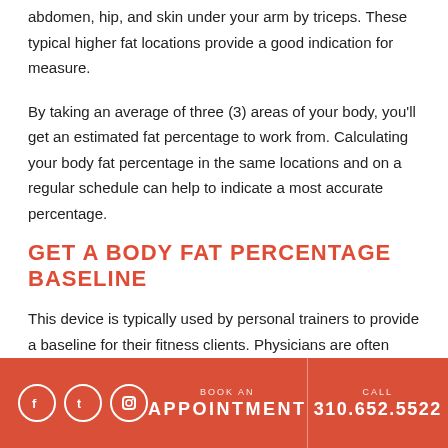abdomen, hip, and skin under your arm by triceps. These typical higher fat locations provide a good indication for measure.
By taking an average of three (3) areas of your body, you'll get an estimated fat percentage to work from. Calculating your body fat percentage in the same locations and on a regular schedule can help to indicate a most accurate percentage.
GET A BODY FAT PERCENTAGE BASELINE
This device is typically used by personal trainers to provide a baseline for their fitness clients. Physicians are often notified of the results.
BOOK AN APPOINTMENT | CALL 310.652.5522